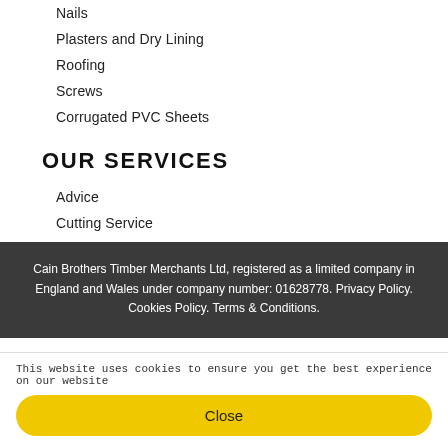Nails
Plasters and Dry Lining
Roofing
Screws
Corrugated PVC Sheets
OUR SERVICES
Advice
Cutting Service
Delivery
About CainBrothers
Cain Brothers Timber Merchants Ltd, registered as a limited company in England and Wales under company number: 01628778. Privacy Policy. Cookies Policy. Terms & Conditions.
This website uses cookies to ensure you get the best experience on our website
Close